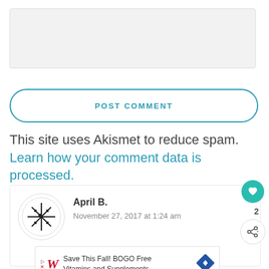[Figure (screenshot): Comment text input area — a light gray rectangular textarea]
POST COMMENT
This site uses Akismet to reduce spam. Learn how your comment data is processed.
April B.
November 27, 2017 at 1:24 am
[Figure (screenshot): Advertisement: Save This Fall! BOGO Free Vitamins and Supplements — Walgreens ad with logo and navigation arrow icon]